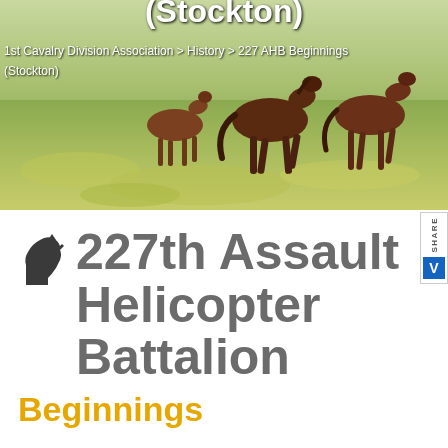[Figure (photo): Hero banner image showing horses running on a green grassy field, partially cropped at top. The page title '(Stockton)' appears in white bold text at the top of the image.]
1st Cavalry Division Association > History > 227 AHB Beginnings (Stockton)
227th Assault Helicopter Battalion
Beginnings